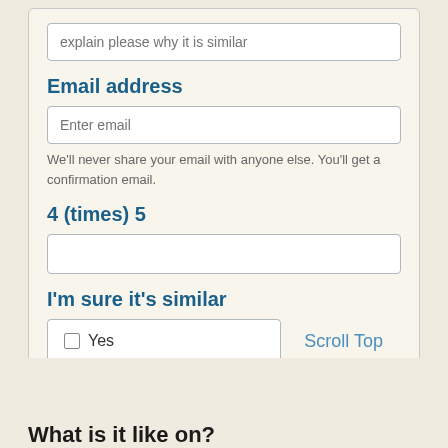explain please why it is similar
Email address
Enter email
We'll never share your email with anyone else. You'll get a confirmation email.
4 (times) 5
I'm sure it's similar
Yes
Scroll Top
Submit
What is it like on?